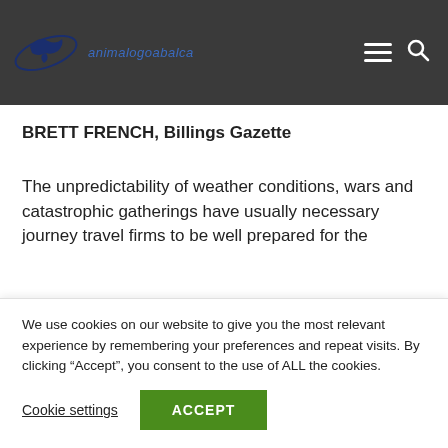animalogoabalca
BRETT FRENCH, Billings Gazette
The unpredictability of weather conditions, wars and catastrophic gatherings have usually necessary journey travel firms to be well prepared for the
We use cookies on our website to give you the most relevant experience by remembering your preferences and repeat visits. By clicking “Accept”, you consent to the use of ALL the cookies.